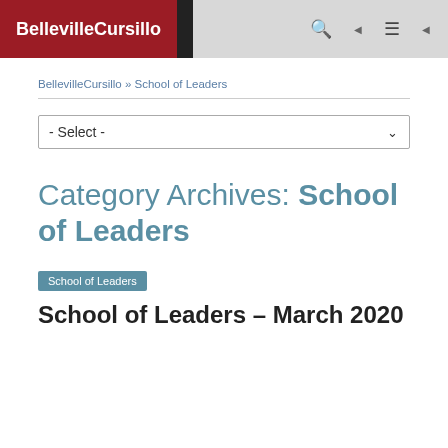BellevilleCursillo
BellevilleCursillo » School of Leaders
- Select -
Category Archives: School of Leaders
School of Leaders
School of Leaders – March 2020